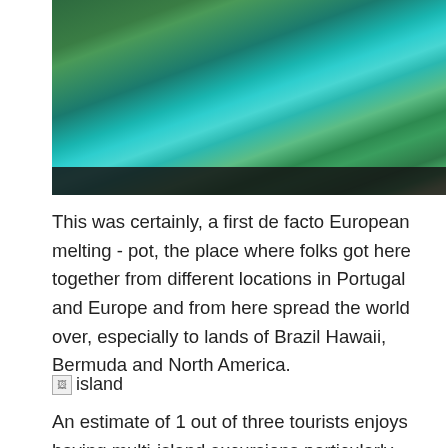[Figure (photo): Aerial view of a tropical island beach with turquoise water, boats, palm trees, and green forested hills]
This was certainly, a first de facto European melting - pot, the place where folks got here together from different locations in Portugal and Europe and from here spread the world over, especially to lands of Brazil Hawaii, Bermuda and North America.
[Figure (photo): Broken image placeholder labeled 'island']
An estimate of 1 out of three tourists enjoys having multi-island excursions particularly when they're planning on staying in Hawaii for at least 1 or 2 weeks spending 3-four days in each island. Avalon is considered the central level of the island the place visitors can get data on all facets of the Catalina